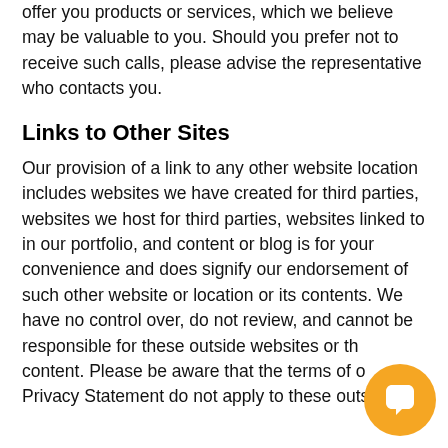offer you products or services, which we believe may be valuable to you. Should you prefer not to receive such calls, please advise the representative who contacts you.
Links to Other Sites
Our provision of a link to any other website location includes websites we have created for third parties, websites we host for third parties, websites linked to in our portfolio, and content or blog is for your convenience and does signify our endorsement of such other website or location or its contents. We have no control over, do not review, and cannot be responsible for these outside websites or their content. Please be aware that the terms of our Privacy Statement do not apply to these outside